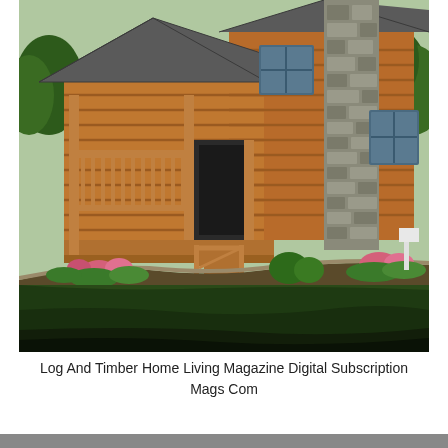[Figure (photo): Exterior photograph of a log and timber home with a covered front porch with wooden railings, stone chimney, large windows, landscaped flower beds with pink flowers, and a wide green lawn in the foreground. Trees visible in the background.]
Log And Timber Home Living Magazine Digital Subscription Mags Com